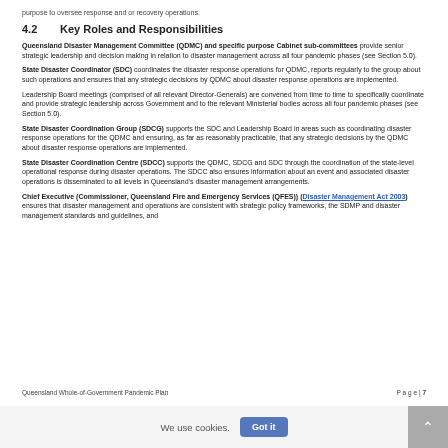purpose to oversee response and or recovery operations.
4.2   Key Roles and Responsibilities
Queensland Disaster Management Committee (QDMC) and specific purpose Cabinet sub-committees provide senior strategic leadership and decision making in relation to disaster management across all four pandemic phases (see Section 5.0).
State Disaster Coordinator (SDC) coordinates the disaster response operations for QDMC, reports regularly to the group about such operations and ensures that any strategic decisions by QDMC about disaster response operations are implemented.
Leadership Board meetings (comprised of all relevant Director-Generals) are convened from time to time to specifically coordinate and provide strategic leadership across Government and to the relevant Ministerial bodies across all four pandemic phases (see Section 5.0).
State Disaster Coordination Group (SDCG) supports the SDC and Leadership Board in areas such as coordinating disaster response operations for the QDMC and ensuring, as far as reasonably practicable, that any strategic decisions by the QDMC about disaster response operations are implemented.
State Disaster Coordination Centre (SDCC) supports the QDMC, SDCG and SDC through the coordination of the state-level operational response during disaster operations. The SDCC also ensures information about an event and associated disaster operations is disseminated to all levels in Queensland’s disaster management arrangements.
Chief Executive (Commissioner, Queensland Fire and Emergency Services (QFES)) (Disaster Management Act 2003) ensures that disaster management and operations are consistent with strategic policy frameworks, the SDMP and disaster management standards and guidelines, and
Queensland Whole-of-Government Pandemic Plan           Page | 7